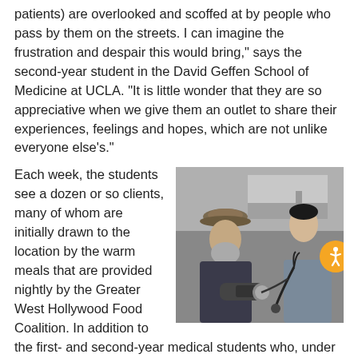patients) are overlooked and scoffed at by people who pass by them on the streets. I can imagine the frustration and despair this would bring," says the second-year student in the David Geffen School of Medicine at UCLA. "It is little wonder that they are so appreciative when we give them an outlet to share their experiences, feelings and hopes, which are not unlike everyone else's."
Each week, the students see a dozen or so clients, many of whom are initially drawn to the location by the warm meals that are provided nightly by the Greater West Hollywood Food Coalition. In addition to the first- and second-year medical students who, under the watchful eye of an attending physician, provide basic care for acute and chronic issues such as foot problems, respiratory tract infections, hypertension and diabetes
[Figure (photo): A black and white photo of an older man wearing a wide-brim hat being examined by a younger man (medical student) who is taking his blood pressure with a sphygmomanometer, outdoors with a truck visible in the background.]